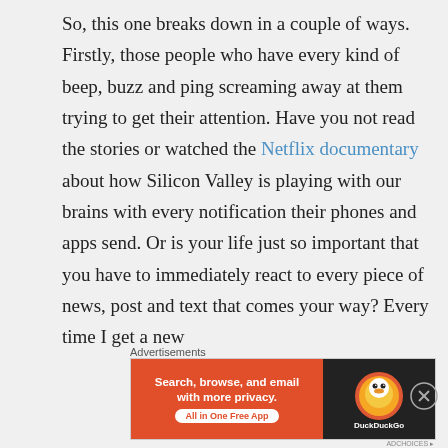So, this one breaks down in a couple of ways. Firstly, those people who have every kind of beep, buzz and ping screaming away at them trying to get their attention. Have you not read the stories or watched the Netflix documentary about how Silicon Valley is playing with our brains with every notification their phones and apps send. Or is your life just so important that you have to immediately react to every piece of news, post and text that comes your way? Every time I get a new
Advertisements
[Figure (other): DuckDuckGo advertisement banner: 'Search, browse, and email with more privacy. All in One Free App' on orange background with DuckDuckGo logo on dark background]